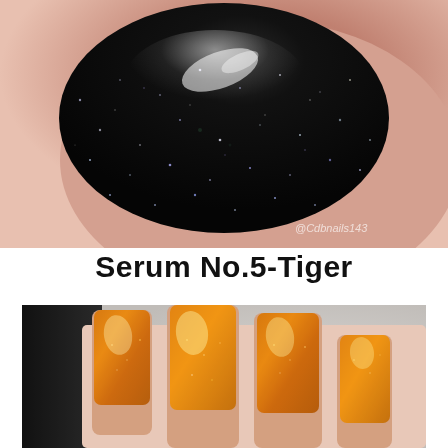[Figure (photo): Close-up macro photo of a fingernail painted with black holographic/glitter nail polish, showing sparkling metallic flecks. Watermark '@Cdbnails143' visible in bottom-right corner.]
Serum No.5-Tiger
[Figure (photo): Photo of four fingernails painted with a warm copper/orange holographic shimmer nail polish, shown against a light grey background with a dark surface visible on the left.]